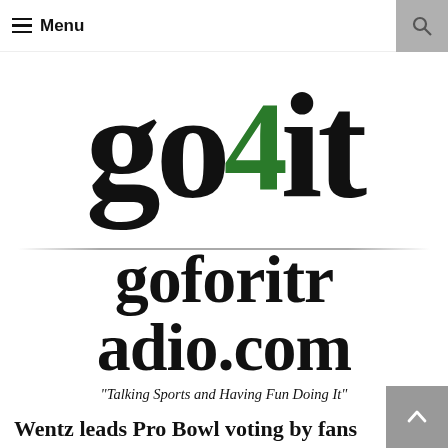≡ Menu
[Figure (logo): go4it logo with large black text 'go' and 'it', green bold '4' in the middle, with a reflection effect below]
goforitradio.com
"Talking Sports and Having Fun Doing It"
Wentz leads Pro Bowl voting by fans